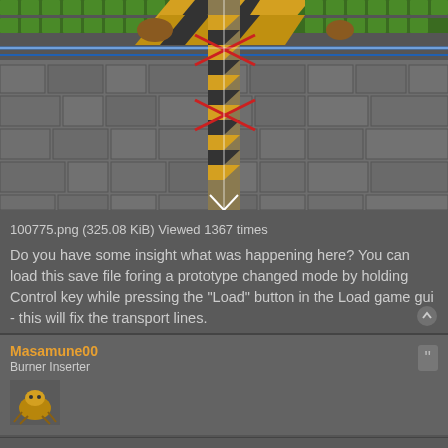[Figure (screenshot): Game screenshot showing transport belts and stone walls with crosshair overlay]
100775.png (325.08 KiB) Viewed 1367 times
Do you have some insight what was happening here? You can load this save file foring a prototype changed mode by holding Control key while pressing the "Load" button in the Load game gui - this will fix the transport lines.
Masamune00
Burner Inserter
[Figure (photo): User avatar image of Masamune00]
Re: [1.1.48] Error loading save: "transport line groups are not consistent"
Sat Nov 27, 2021 8:28 pm